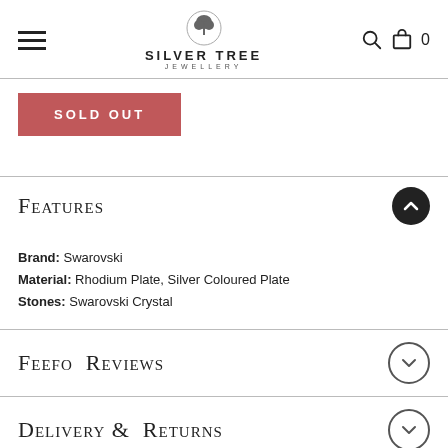Silver Tree Jewellery — navigation header with logo, search and cart icons
[Figure (screenshot): Sold Out button in red/pink]
Features
Brand: Swarovski
Material: Rhodium Plate, Silver Coloured Plate
Stones: Swarovski Crystal
Feefo Reviews
Delivery & Returns